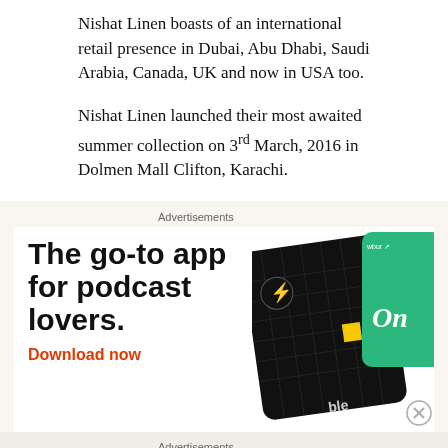Nishat Linen boasts of an international retail presence in Dubai, Abu Dhabi, Saudi Arabia, Canada, UK and now in USA too.
Nishat Linen launched their most awaited summer collection on 3rd March, 2016 in Dolmen Mall Clifton, Karachi.
Advertisements
[Figure (infographic): Advertisement banner: 'The go-to app for podcast lovers. Download now' with podcast app card imagery]
Advertisements
[Figure (infographic): Advertisement banner: 'Need a website quickly – and on a budget?' with WordPress logo]